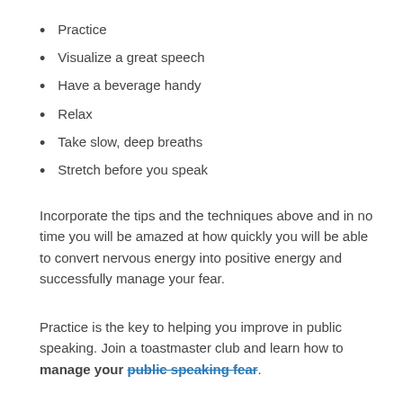Practice
Visualize a great speech
Have a beverage handy
Relax
Take slow, deep breaths
Stretch before you speak
Incorporate the tips and the techniques above and in no time you will be amazed at how quickly you will be able to convert nervous energy into positive energy and successfully manage your fear.
Practice is the key to helping you improve in public speaking. Join a toastmaster club and learn how to manage your public speaking fear.